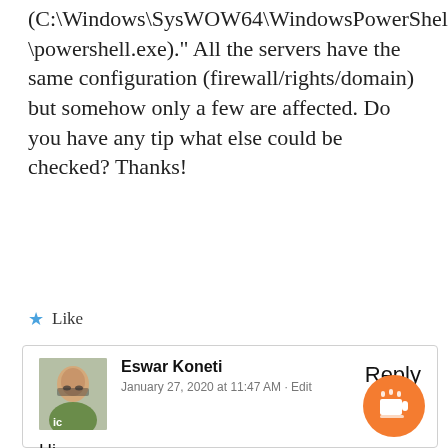(C:\Windows\SysWOW64\WindowsPowerShell\v1.0\powershell.exe)." All the servers have the same configuration (firewall/rights/domain) but somehow only a few are affected. Do you have any tip what else could be checked? Thanks!
★ Like
Eswar Koneti
January 27, 2020 at 11:47 AM · Edit
Reply
Hi,
It seems to be like firewall or dcom issue. you can check wbemtest from run command try to connect to remote server wmi (\\servername\root\CCM\ClientSDK) if it wo or not.